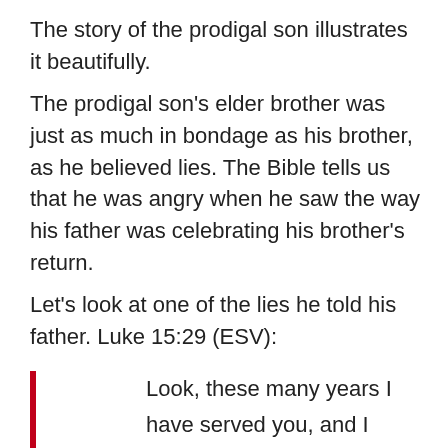The story of the prodigal son illustrates it beautifully.
The prodigal son's elder brother was just as much in bondage as his brother, as he believed lies. The Bible tells us that he was angry when he saw the way his father was celebrating his brother's return.
Let's look at one of the lies he told his father. Luke 15:29 (ESV):
Look, these many years I have served you, and I never disobeyed your command, yet you never